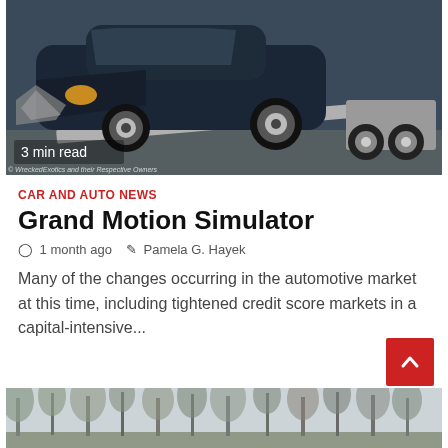[Figure (photo): Wrecked/damaged dark car on a tow truck flatbed ramp, with a '3 min read' overlay and watermark text '© WreckedExotics and their Respective Owners']
CAR AND AUTO NEWS
Grand Motion Simulator
🕐 1 month ago   ✎ Pamela G. Hayek
Many of the changes occurring in the automotive market at this time, including tightened credit score markets in a capital-intensive...
[Figure (photo): Outdoor winter scene with bare trees, partially visible at the bottom of the page]